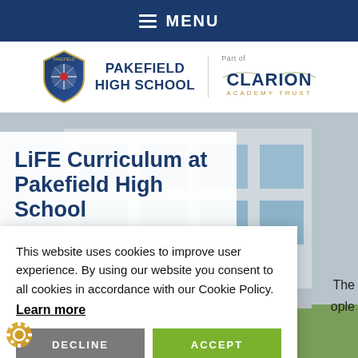MENU
[Figure (logo): Pakefield High School logo with shield and compass rose, alongside Pakefield High School wordmark and Clarion Academy Trust logo]
[Figure (photo): Exterior photo of Pakefield High School building with glass windows]
LiFE Curriculum at Pakefield High School
Our Life Programme at Pakefield is our PSHE
This website uses cookies to improve user experience. By using our website you consent to all cookies in accordance with our Cookie Policy. Learn more
DECLINE
ACCEPT